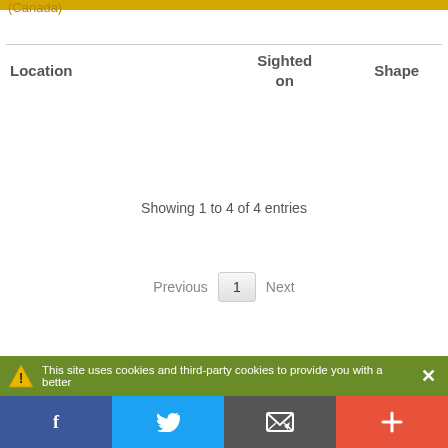(Canada)
| Location | Sighted on | Shape |
| --- | --- | --- |
Showing 1 to 4 of 4 entries
Previous  1  Next
This site uses cookies and third-party cookies to provide you with a better
[Figure (screenshot): Social sharing bar with Facebook, Twitter, email, and plus buttons]